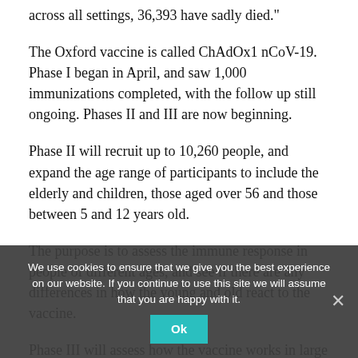across all settings, 36,393 have sadly died."
The Oxford vaccine is called ChAdOx1 nCoV-19. Phase I began in April, and saw 1,000 immunizations completed, with the follow up still ongoing. Phases II and III are now beginning.
Phase II will recruit up to 10,260 people, and expand the age range of participants to include the elderly and children, those aged over 56 and those between 5 and 12 years old.
The purpose is to assess the immune response in people of different ages, and see if there are any differences in how the young and old react to the vaccine.
Phase III will assess how the vaccine works in large numbers of people above the age of 18, and how well the vaccine prevents people becoming infected and ill with COVID-19.
We use cookies to ensure that we give you the best experience on our website. If you continue to use this site we will assume that you are happy with it.